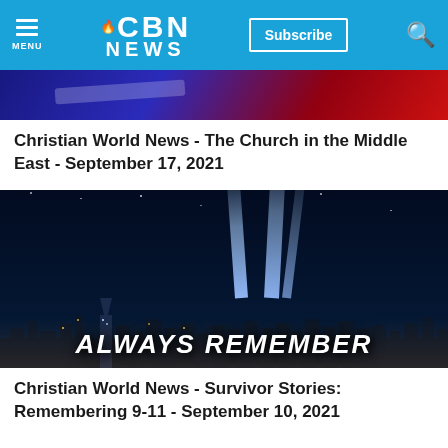CBN NEWS | Subscribe
[Figure (photo): Partial view of a patriotic image with red, blue and purple tones, likely a flag or similar patriotic visual]
Christian World News - The Church in the Middle East - September 17, 2021
[Figure (photo): Night skyline of New York City with two beams of light (Tribute in Light) shining upward, commemorating 9/11, with text overlay reading 'ALWAYS REMEMBER']
Christian World News - Survivor Stories: Remembering 9-11 - September 10, 2021